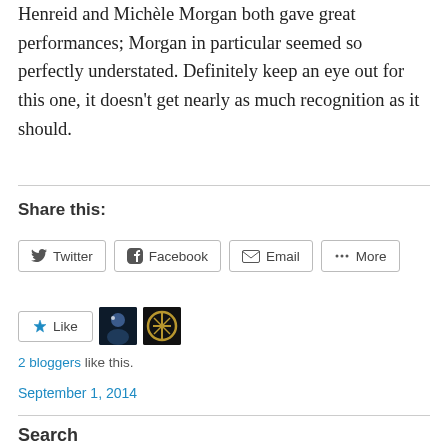Henreid and Michèle Morgan both gave great performances; Morgan in particular seemed so perfectly understated. Definitely keep an eye out for this one, it doesn't get nearly as much recognition as it should.
Share this:
Twitter  Facebook  Email  More
Like  2 bloggers like this.
September 1, 2014
Search